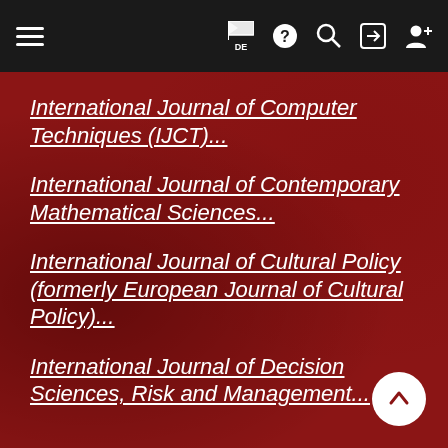Navigation bar with hamburger menu, flag/DE, help, search, login, and register icons
International Journal of Computer Techniques (IJCT)...
International Journal of Contemporary Mathematical Sciences...
International Journal of Cultural Policy (formerly European Journal of Cultural Policy)...
International Journal of Decision Sciences, Risk and Management...